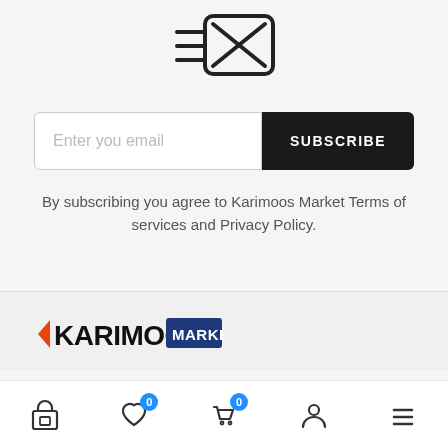[Figure (illustration): Envelope icon with lines indicating a newsletter or email subscription]
Enter you email
SUBSCRIBE
By subscribing you agree to Karimoos Market Terms of services and Privacy Policy.
[Figure (logo): Karimoos Market logo with orange arrow and blue MARKET badge]
[Figure (illustration): Bottom navigation bar with shop, heart/wishlist (0), cart (0), user, and menu icons]